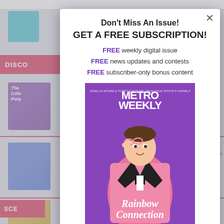Don't Miss An Issue!
GET A FREE SUBSCRIPTION!
FREE weekly digital issue
FREE news updates and contests
FREE subscriber-only bonus content
[Figure (illustration): Metro Weekly magazine cover featuring a man in a pink sequined tuxedo jacket with black lapels and bow tie, holding pink glasses, with text 'Rainbow Connection' and 'METROWEEKLY' masthead]
Enter your first name here...
Enter your email here...